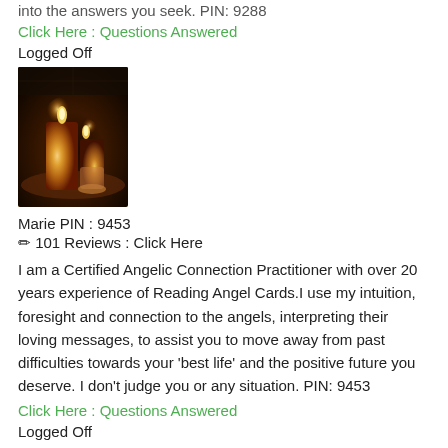into the answers you seek. PIN: 9288
Click Here : Questions Answered
Logged Off
[Figure (photo): Photo of candles glowing warmly in a dark setting]
Marie PIN : 9453
✏ 101 Reviews : Click Here
I am a Certified Angelic Connection Practitioner with over 20 years experience of Reading Angel Cards.I use my intuition, foresight and connection to the angels, interpreting their loving messages, to assist you to move away from past difficulties towards your 'best life' and the positive future you deserve. I don't judge you or any situation. PIN: 9453
Click Here : Questions Answered
Logged Off